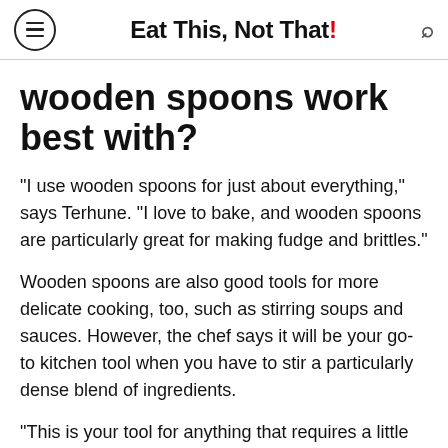Eat This, Not That!
wooden spoons work best with?
"I use wooden spoons for just about everything," says Terhune. "I love to bake, and wooden spoons are particularly great for making fudge and brittles."
Wooden spoons are also good tools for more delicate cooking, too, such as stirring soups and sauces. However, the chef says it will be your go-to kitchen tool when you have to stir a particularly dense blend of ingredients.
"This is your tool for anything that requires a little